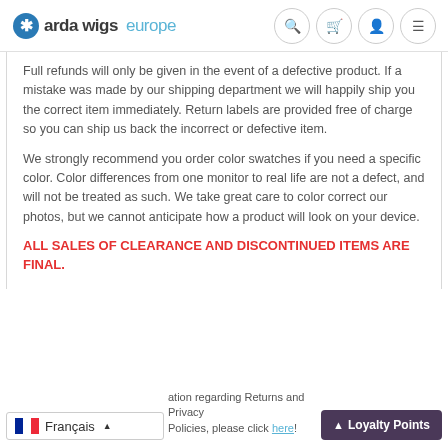arda wigs europe
Full refunds will only be given in the event of a defective product. If a mistake was made by our shipping department we will happily ship you the correct item immediately. Return labels are provided free of charge so you can ship us back the incorrect or defective item.
We strongly recommend you order color swatches if you need a specific color. Color differences from one monitor to real life are not a defect, and will not be treated as such. We take great care to color correct our photos, but we cannot anticipate how a product will look on your device.
ALL SALES OF CLEARANCE AND DISCONTINUED ITEMS ARE FINAL.
...ation regarding Returns and Privacy Policies, please click here!